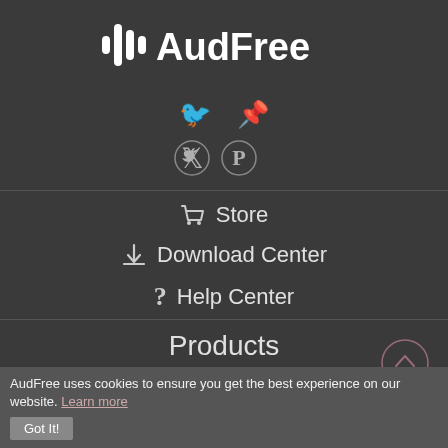[Figure (logo): AudFree logo with audio waveform icon and white text on dark background]
[Figure (infographic): Social media icons: Twitter bird and Pinterest P in circles]
Store
Download Center
Help Center
Products
AudFree SpoDable
AudFree Tidable
AudFree Audition
AudFree uses cookies to ensure you get the best experience on our website. Learn more  Got It!